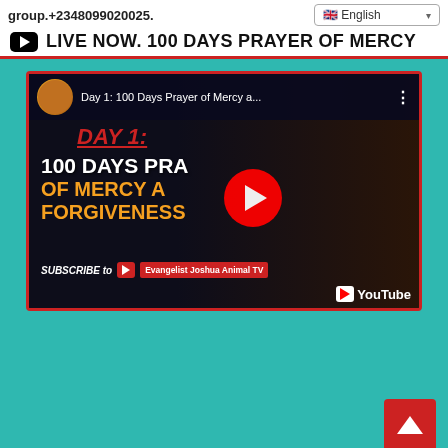group.+2348099020025.
English
LIVE NOW. 100 DAYS PRAYER OF MERCY
[Figure (screenshot): YouTube video thumbnail for 'Day 1: 100 Days Prayer of Mercy a...' showing a man with glasses, text overlay: DAY 1: 100 DAYS PRAYER OF MERCY AND FORGIVENESS, with Subscribe to Evangelist Joshua Animal TV and YouTube logo]
[Figure (other): Back to top arrow button in red square]